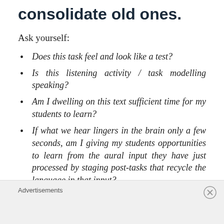consolidate old ones.
Ask yourself:
Does this task feel and look like a test?
Is this listening activity / task modelling speaking?
Am I dwelling on this text sufficient time for my students to learn?
If what we hear lingers in the brain only a few seconds, am I giving my students opportunities to learn from the aural input they have just processed by staging post-tasks that recycle the language in that input?
Advertisements